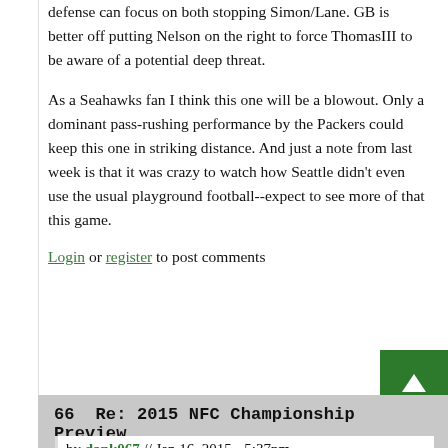defense can focus on both stopping Simon/Lane. GB is better off putting Nelson on the right to force ThomasIII to be aware of a potential deep threat.
As a Seahawks fan I think this one will be a blowout. Only a dominant pass-rushing performance by the Packers could keep this one in striking distance. And just a note from last week is that it was crazy to watch how Seattle didn't even use the usual playground football--expect to see more of that this game.
Login or register to post comments
66  Re: 2015 NFC Championship Preview
by dank067 // Jan 16, 2015 - 5:37pm